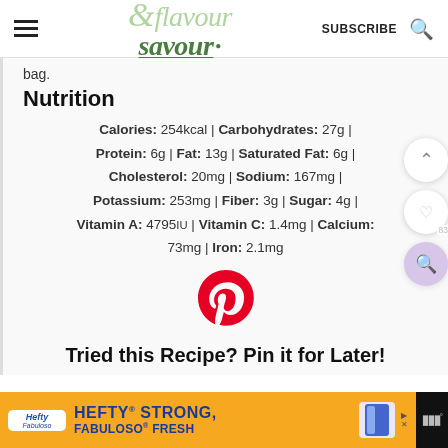flavour & savour — SUBSCRIBE
bag.
Nutrition
Calories: 254kcal | Carbohydrates: 27g | Protein: 6g | Fat: 13g | Saturated Fat: 6g | Cholesterol: 20mg | Sodium: 167mg | Potassium: 253mg | Fiber: 3g | Sugar: 4g | Vitamin A: 4795IU | Vitamin C: 1.4mg | Calcium: 73mg | Iron: 2.1mg
[Figure (logo): Pinterest logo icon (red stylized P)]
Tried this Recipe? Pin it for Later!
[Figure (infographic): Hefty STRONG FABULOSO FRESH advertisement banner]